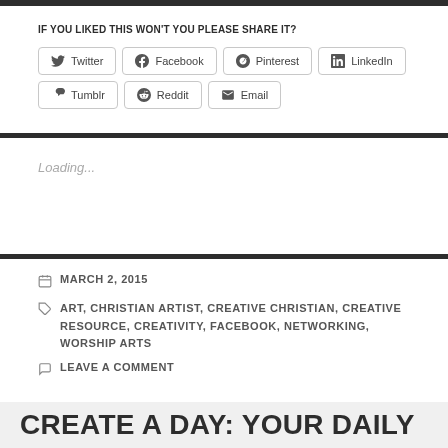IF YOU LIKED THIS WON'T YOU PLEASE SHARE IT?
[Figure (other): Social share buttons: Twitter, Facebook, Pinterest, LinkedIn, Tumblr, Reddit, Email]
Loading...
MARCH 2, 2015
ART, CHRISTIAN ARTIST, CREATIVE CHRISTIAN, CREATIVE RESOURCE, CREATIVITY, FACEBOOK, NETWORKING, WORSHIP ARTS
LEAVE A COMMENT
CREATE A DAY: YOUR DAILY